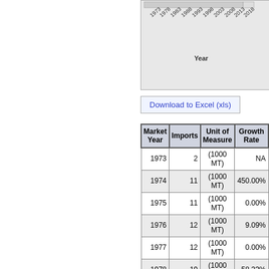[Figure (other): Partial view of a line/bar chart showing Year on x-axis (1973-2018) and some quantity on y-axis. Only the bottom portion and x-axis labels are visible.]
Download to Excel (xls)
| Market Year | Imports | Unit of Measure | Growth Rate |
| --- | --- | --- | --- |
| 1973 | 2 | (1000 MT) | NA |
| 1974 | 11 | (1000 MT) | 450.00% |
| 1975 | 11 | (1000 MT) | 0.00% |
| 1976 | 12 | (1000 MT) | 9.09% |
| 1977 | 12 | (1000 MT) | 0.00% |
| 1978 | 19 | (1000 MT) | 58.33% |
| 1979 | 15 | (1000 MT) | -21.05% |
| 1980 | 20 | (1000 MT) | 33.33% |